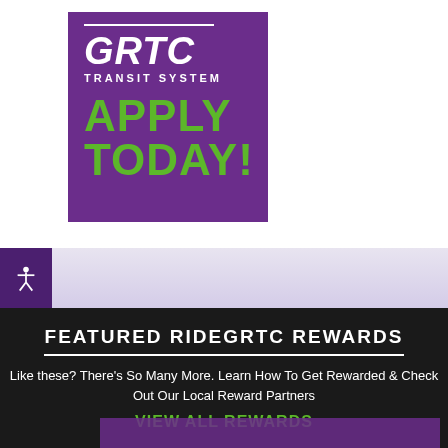[Figure (logo): GRTC Transit System logo on purple background with APPLY TODAY! text in green]
[Figure (infographic): Accessibility icon (person with arms out) in a dark purple box on lavender gradient bar]
FEATURED RIDEGRTC REWARDS
Like these? There's So Many More. Learn How To Get Rewarded & Check Out Our Local Reward Partners
VIEW ALL REWARDS
[Figure (photo): Purple-toned image partially visible at bottom of page]